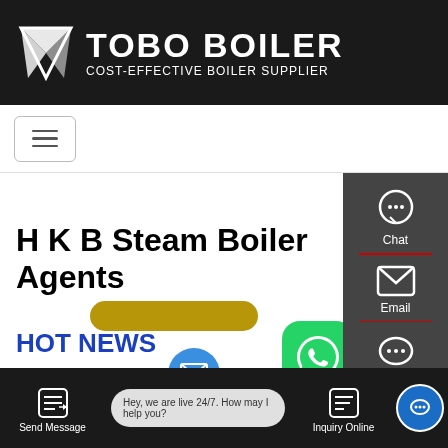[Figure (logo): Tobo Boiler logo - white text on black background with geometric logo mark. Main text: TOBO BOILER, subtitle: COST-EFFECTIVE BOILER SUPPLIER]
[Figure (screenshot): Navigation hamburger menu button with three horizontal lines inside a rounded rectangle border]
H K B Steam Boiler Agents
[Figure (infographic): Gold/yellow rounded pill shape button]
[Figure (infographic): WhatsApp green rounded square icon with phone handset logo]
[Figure (infographic): Green rounded Contact us now! button]
[Figure (infographic): Dark side panel with Chat (headset icon), Email (envelope icon), and partial third icon (speech bubble)]
HOT NEWS
[Figure (infographic): Bottom toolbar with Send Message button, chat bubble saying Hey, we are live 24/7. How may I help you?, Inquiry Online button, and blue chat icon]
Hey, we are live 24/7. How may I help you?